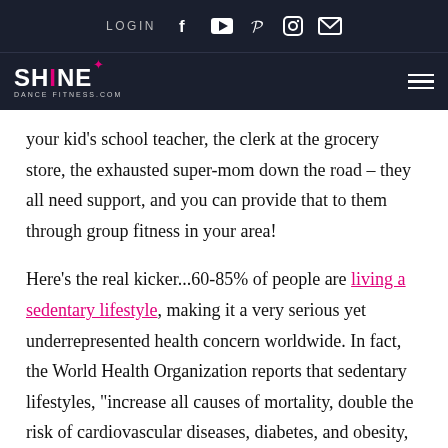LOGIN | Social icons: Facebook, YouTube, Pinterest, Instagram, Email | SHINE DANCE FITNESS.COM logo | hamburger menu
your kid’s school teacher, the clerk at the grocery store, the exhausted super-mom down the road – they all need support, and you can provide that to them through group fitness in your area!
Here’s the real kicker…60-85% of people are living a sedentary lifestyle, making it a very serious yet underrepresented health concern worldwide. In fact, the World Health Organization reports that sedentary lifestyles, “increase all causes of mortality, double the risk of cardiovascular diseases, diabetes, and obesity, and increase the risks of colon cancer, high blood pressure,